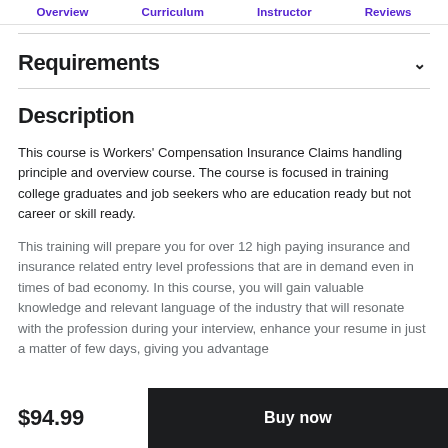Overview  Curriculum  Instructor  Reviews
Requirements
Description
This course is Workers' Compensation Insurance Claims handling principle and overview course. The course is focused in training college graduates and job seekers who are education ready but not career or skill ready.
This training will prepare you for over 12 high paying insurance and insurance related entry level professions that are in demand even in times of bad economy. In this course, you will gain valuable knowledge and relevant language of the industry that will resonate with the profession during your interview, enhance your resume in just a matter of few days, giving you advantage
$94.99  Buy now